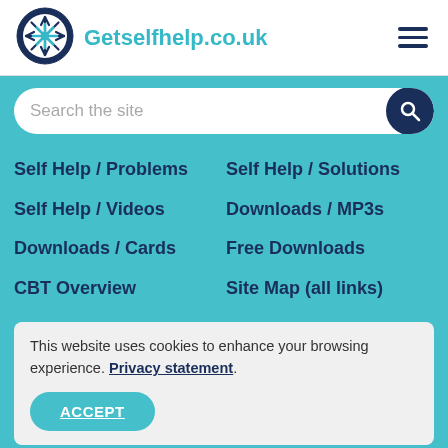Getselfhelp.co.uk
[Figure (logo): Getselfhelp.co.uk compass-style logo — dark blue circle with snowflake/compass star in teal and white]
Self Help / Problems
Self Help / Solutions
Self Help / Videos
Downloads / MP3s
Downloads / Cards
Free Downloads
CBT Overview
Site Map (all links)
This website uses cookies to enhance your browsing experience. Privacy statement.
ACCEPT